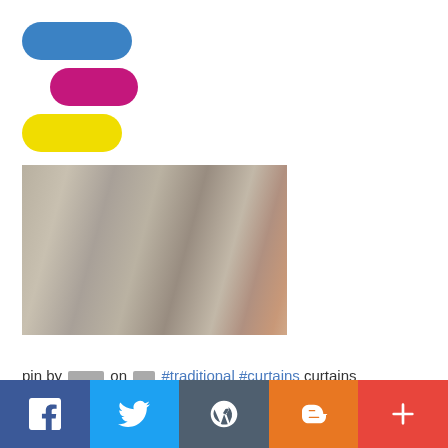[Figure (logo): Three stacked pill/capsule shapes: blue, pink/magenta, and yellow, forming a logo mark]
[Figure (photo): Close-up photograph of draped curtain fabric in beige/grey tones with orange/brown accent curtain visible at right edge]
pin by ████ on ██ #traditional #curtains curtains #classic curtains
Facebook | Twitter | WordPress | Blogger | Plus